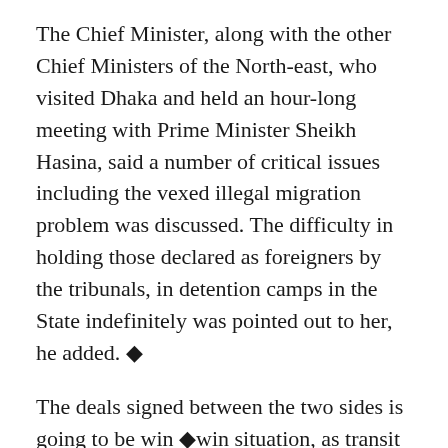The Chief Minister, along with the other Chief Ministers of the North-east, who visited Dhaka and held an hour-long meeting with Prime Minister Sheikh Hasina, said a number of critical issues including the vexed illegal migration problem was discussed. The difficulty in holding those declared as foreigners by the tribunals, in detention camps in the State indefinitely was pointed out to her, he added. ◆
The deals signed between the two sides is going to be win ◆win situation, as transit route and trade deals would benefit both the sides. The Prime Minister of Bangladesh has indicated her willingness to give an undersea cable connection from Chittagong to Assam. This would improve our Internet connectivity. Currently Assam uses ◆